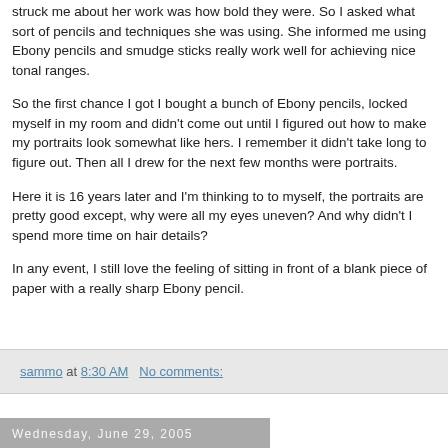struck me about her work was how bold they were. So I asked what sort of pencils and techniques she was using. She informed me using Ebony pencils and smudge sticks really work well for achieving nice tonal ranges.
So the first chance I got I bought a bunch of Ebony pencils, locked myself in my room and didn't come out until I figured out how to make my portraits look somewhat like hers. I remember it didn't take long to figure out. Then all I drew for the next few months were portraits.
Here it is 16 years later and I'm thinking to to myself, the portraits are pretty good except, why were all my eyes uneven? And why didn't I spend more time on hair details?
In any event, I still love the feeling of sitting in front of a blank piece of paper with a really sharp Ebony pencil.
sammo at 8:30 AM   No comments:
Wednesday, June 29, 2005